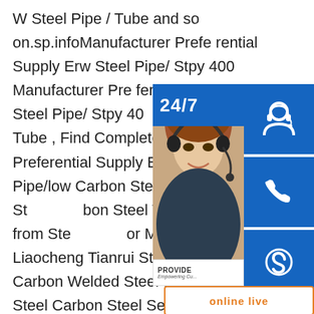W Steel Pipe / Tube and so on.sp.infoManufacturer Preferential Supply Erw Steel Pipe/ Stpy 400 Manufacturer Preferential Supply Erw Steel Pipe/ Stpy 400 Carbon Steel Tube , Find Complete Details cturer Preferential Supply Erw Steel Pipe Pipe/low Carbon Steel Tube,Stpy 400 Steel bon Steel Tube,Erw Steel Tube from Steel or Manufacturer-Liaocheng Tianrui Steel p.infoERW Carbon Welded Steel tube for Steel Carbon Steel Seamless ERW Pipe ied in Rails,Pipeline,Transport oil and gas,transport sewage,transport steam,chemical processing,etc.China ASTM A36 Balck Carbon Steel Pipe Round ERW Steel ERW Carbon Welded Steel tube for Oil TransportSteel Pipe,Welded Pipe,Steel Tube,manufacturer / supplier in China,offeri
[Figure (infographic): Customer service overlay widget showing a 24/7 badge, a photo of a woman with headset, and three blue icon buttons (headset/contact, phone, Skype) plus an orange-bordered 'online live' button and a 'PROVIDE Empowering Customers' bar.]